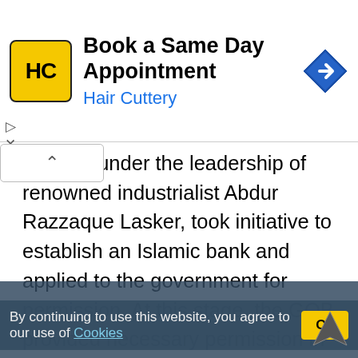[Figure (screenshot): Advertisement banner for Hair Cuttery: 'Book a Same Day Appointment' with HC logo and navigation arrow icon]
ciation') under the leadership of renowned industrialist Abdur Razzaque Lasker, took initiative to establish an Islamic bank and applied to the government for permission. At this stage, the GOB provided necessary permission in the year 1983 and at last 'Islami Bank Bangladesh' was registered under Company Act in which 19 Bangladeshi national Banks, other financial institutions and government bodies of the Middle East and Europe including IDB and two eminent personalities of the Kingdom of Saudi Arabia joined hands to make the dream a reality.
By continuing to use this website, you agree to our use of Cookies